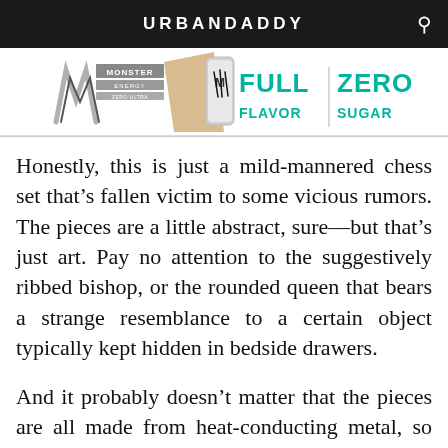URBANDADDY
[Figure (illustration): Monster Energy Zero Ultra advertisement banner showing the Monster Energy logo, a can of the drink, and the text 'FULL FLAVOR | ZERO SUGAR' in teal/turquoise lettering]
Honestly, this is just a mild-mannered chess set that’s fallen victim to some vicious rumors. The pieces are a little abstract, sure—but that’s just art. Pay no attention to the suggestively ribbed bishop, or the rounded queen that bears a strange resemblance to a certain object typically kept hidden in bedside drawers.
And it probably doesn’t matter that the pieces are all made from heat-conducting metal, so the banana-shaped rook will heat up